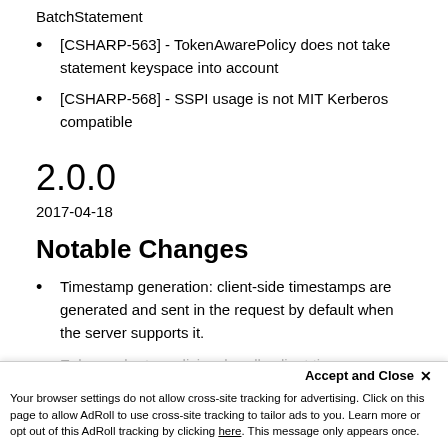BatchStatement
[CSHARP-563] - TokenAwarePolicy does not take statement keyspace into account
[CSHARP-568] - SSPI usage is not MIT Kerberos compatible
2.0.0
2017-04-18
Notable Changes
Timestamp generation: client-side timestamps are generated and sent in the request by default when the server supports it.
Enhanced retry policies: handle client ti…
Accept and Close ×
Your browser settings do not allow cross-site tracking for advertising. Click on this page to allow AdRoll to use cross-site tracking to tailor ads to you. Learn more or opt out of this AdRoll tracking by clicking here. This message only appears once.